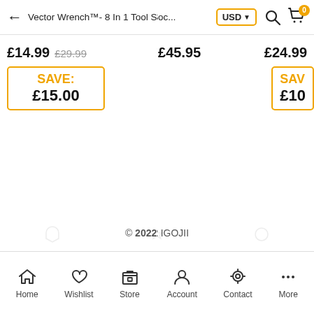← Vector Wrench™- 8 In 1 Tool Soc... USD ▾ 🔍 🛍
£14.99 £29.99   £45.95   £24.99
SAVE: £15.00   SAV £10
© 2022 IGOJII
Home  Wishlist  Store  Account  Contact  More